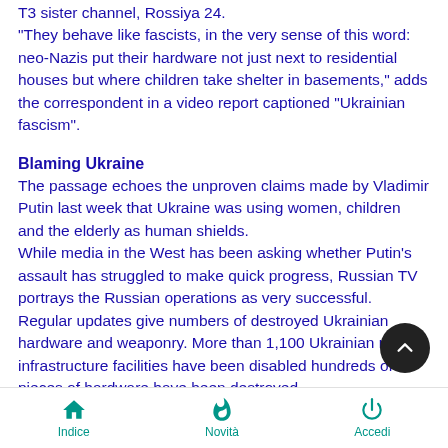T3 sister channel, Rossiya 24. "They behave like fascists, in the very sense of this word: neo-Nazis put their hardware not just next to residential houses but where children take shelter in basements," adds the correspondent in a video report captioned "Ukrainian fascism".
Blaming Ukraine
The passage echoes the unproven claims made by Vladimir Putin last week that Ukraine was using women, children and the elderly as human shields.
While media in the West has been asking whether Putin's assault has struggled to make quick progress, Russian TV portrays the Russian operations as very successful. Regular updates give numbers of destroyed Ukrainian hardware and weaponry. More than 1,100 Ukrainian military infrastructure facilities have been disabled hundreds of pieces of hardware have been destroyed, morning news reports say. There is no mention of any
Indice  Novità  Accedi